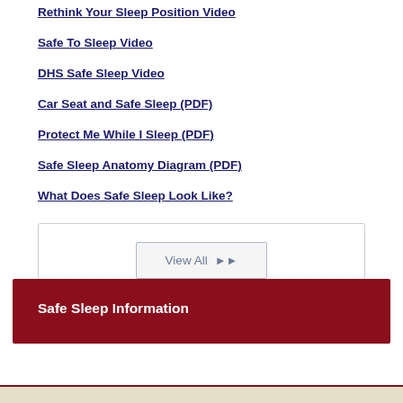Rethink Your Sleep Position Video
Safe To Sleep Video
DHS Safe Sleep Video
Car Seat and Safe Sleep (PDF)
Protect Me While I Sleep (PDF)
Safe Sleep Anatomy Diagram (PDF)
What Does Safe Sleep Look Like?
View All ▶▶
Safe Sleep Information